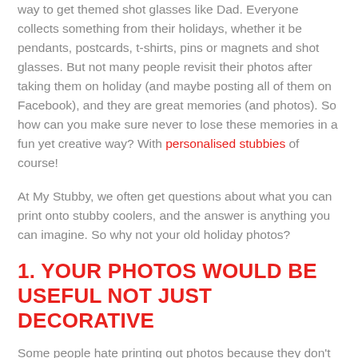way to get themed shot glasses like Dad. Everyone collects something from their holidays, whether it be pendants, postcards, t-shirts, pins or magnets and shot glasses. But not many people revisit their photos after taking them on holiday (and maybe posting all of them on Facebook), and they are great memories (and photos). So how can you make sure never to lose these memories in a fun yet creative way? With personalised stubbies of course!
At My Stubby, we often get questions about what you can print onto stubby coolers, and the answer is anything you can imagine. So why not your old holiday photos?
1. YOUR PHOTOS WOULD BE USEFUL NOT JUST DECORATIVE
Some people hate printing out photos because they don't know where to put them or they just don't have space in